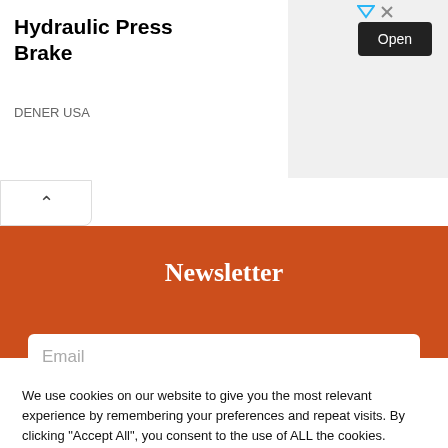[Figure (screenshot): Advertisement banner for Hydraulic Press Brake by DENER USA, showing a CNC machine image on the left, bold title text, and an Open button on the right.]
Hydraulic Press Brake
DENER USA
Newsletter
Email
We use cookies on our website to give you the most relevant experience by remembering your preferences and repeat visits. By clicking “Accept All”, you consent to the use of ALL the cookies. However, you may visit “Cookie Settings” to provide a controlled consent.
Cookie Settings
Accept All